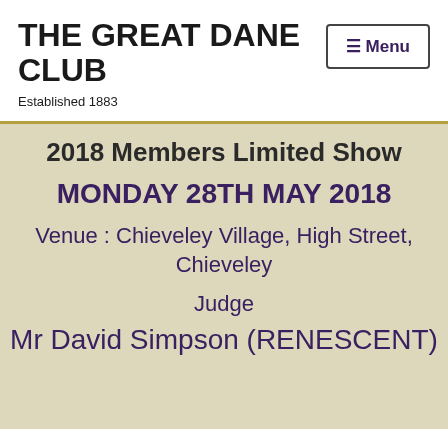THE GREAT DANE CLUB
Established 1883
2018 Members Limited Show
MONDAY 28TH MAY 2018
Venue : Chieveley Village, High Street, Chieveley
Judge
Mr David Simpson (RENESCENT)